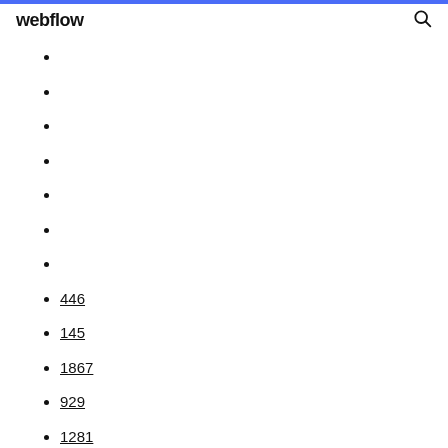webflow
446
145
1867
929
1281
448